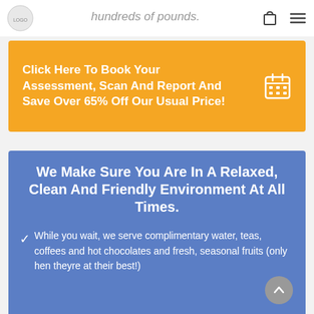hundreds of pounds.
Click Here To Book Your Assessment, Scan And Report And Save Over 65% Off Our Usual Price!
We Make Sure You Are In A Relaxed, Clean And Friendly Environment At All Times.
While you wait, we serve complimentary water, teas, coffees and hot chocolates and fresh, seasonal fruits (only hen theyre at their best!)